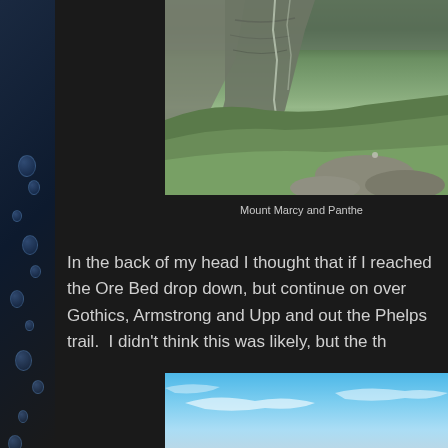[Figure (photo): Mountain landscape showing Mount Marcy and Panther (partially visible), rocky terrain with green moss and cliffs in background]
Mount Marcy and Panthe
In the back of my head I thought that if I reached the Ore Bed drop down, but continue on over Gothics, Armstrong and Upp and out the Phelps trail.  I didn't think this was likely, but the th
[Figure (photo): Blue sky with some clouds, bottom portion of mountain scene]